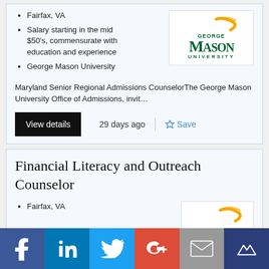Fairfax, VA
Salary starting in the mid $50's, commensurate with education and experience
George Mason University
[Figure (logo): George Mason University logo with green text and gold swoosh]
Maryland Senior Regional Admissions CounselorThe George Mason University Office of Admissions, invit...
View details
29 days ago
Save
Financial Literacy and Outreach Counselor
Fairfax, VA
[Figure (logo): George Mason University logo (partial, gold swoosh visible)]
[Figure (infographic): Social media sharing bar with Facebook, LinkedIn, Twitter, Google+, Email, and Mightybell icons]